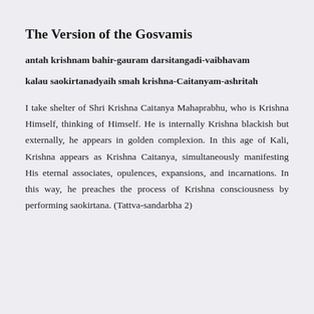The Version of the Gosvamis
antah krishnam bahir-gauram darsitangadi-vaibhavam
kalau saokirtanadyaih smah krishna-Caitanyam-ashritah
I take shelter of Shri Krishna Caitanya Mahaprabhu, who is Krishna Himself, thinking of Himself. He is internally Krishna blackish but externally, he appears in golden complexion. In this age of Kali, Krishna appears as Krishna Caitanya, simultaneously manifesting His eternal associates, opulences, expansions, and incarnations. In this way, he preaches the process of Krishna consciousness by performing saokirtana. (Tattva-sandarbha 2)